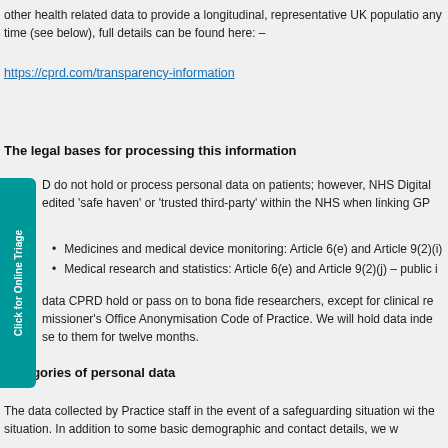other health related data to provide a longitudinal, representative UK population any time (see below), full details can be found here: –
https://cprd.com/transparency-information
The legal bases for processing this information
D do not hold or process personal data on patients; however, NHS Digital edited 'safe haven' or 'trusted third-party' within the NHS when linking GP
Medicines and medical device monitoring: Article 6(e) and Article 9(2)(i)
Medical research and statistics: Article 6(e) and Article 9(2)(j) – public i
data CPRD hold or pass on to bona fide researchers, except for clinical re missioner's Office Anonymisation Code of Practice. We will hold data inde se to them for twelve months.
Categories of personal data
The data collected by Practice staff in the event of a safeguarding situation wi the situation. In addition to some basic demographic and contact details, we w